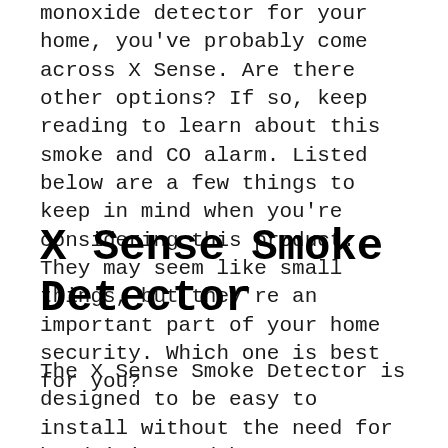monoxide detector for your home, you've probably come across X Sense. Are there other options? If so, keep reading to learn about this smoke and CO alarm. Listed below are a few things to keep in mind when you're considering this product. They may seem like small things, but they're an important part of your home security. Which one is best for you?
X Sense Smoke Detector
The X Sense Smoke Detector is designed to be easy to install without the need for hardwiring and has a test/silence button for ease of use. The smoke detector features a